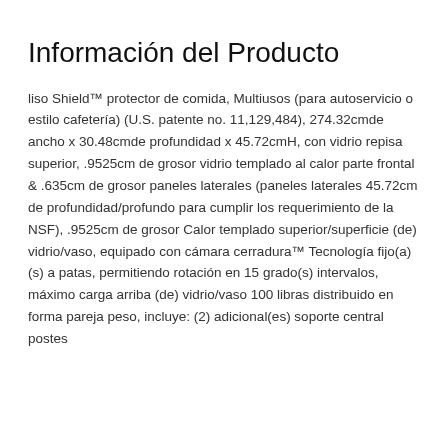Información del Producto
liso Shield™ protector de comida, Multiusos (para autoservicio o estilo cafetería) (U.S. patente no. 11,129,484), 274.32cmde ancho x 30.48cmde profundidad x 45.72cmH, con vidrio repisa superior, .9525cm de grosor vidrio templado al calor parte frontal & .635cm de grosor paneles laterales (paneles laterales 45.72cm de profundidad/profundo para cumplir los requerimiento de la NSF), .9525cm de grosor Calor templado superior/superficie (de) vidrio/vaso, equipado con cámara cerradura™ Tecnología fijo(a)(s) a patas, permitiendo rotación en 15 grado(s) intervalos, máximo carga arriba (de) vidrio/vaso 100 libras distribuido en forma pareja peso, incluye: (2) adicional(es) soporte central postes